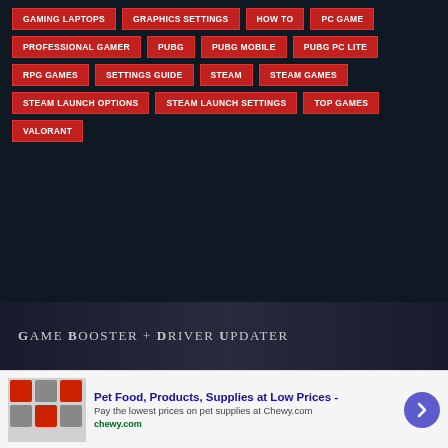GAMING LAPTOPS
GRAPHICS SETTINGS
HOW TO
PC GAME
PROFESSIONAL GAMER
PUBG
PUBG MOBILE
PUBG PC LITE
RPG GAMES
SETTINGS GUIDE
STEAM
STEAM GAMES
STEAM LAUNCH OPTIONS
STEAM LAUNCH SETTINGS
TOP GAMES
VALORANT
GAME BOOSTER + DRIVER UPDATER
Pet Food, Products, Supplies at Low Prices - Pay the lowest prices on pet supplies at Chewy.com chewy.com